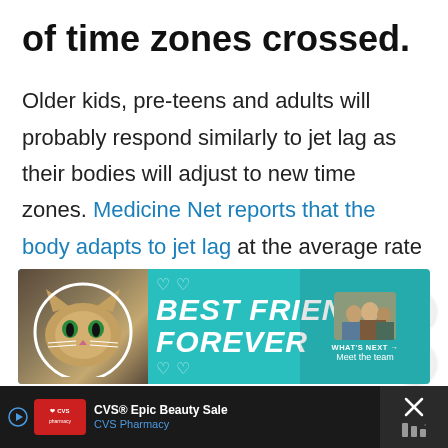of time zones crossed.
Older kids, pre-teens and adults will probably respond similarly to jet lag as their bodies will adjust to new time zones. Medicine Net reports that the body adapts to jet lag at the average rate of two-time zones per day.
[Figure (infographic): Teal advertisement banner showing a cat with text 'BEST FRIENDS FOREVER' in bold white italic letters with heart decorations. On the right side a 'WHAT'S NEXT' panel showing a group photo thumbnail with text 'Meet the team'.]
[Figure (infographic): Dark bottom ad bar showing CVS Pharmacy ad with text 'CVS® Epic Beauty Sale' and 'CVS Pharmacy', a blue navigation diamond icon, and a close panel on the right.]